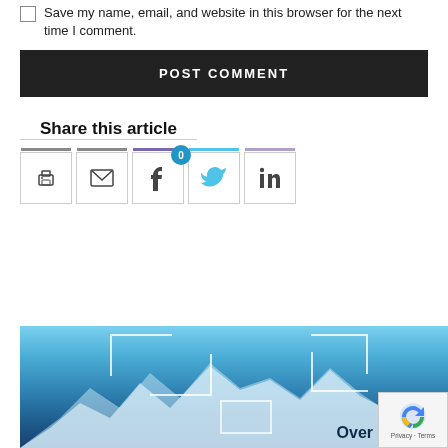Save my name, email, and website in this browser for the next time I comment.
POST COMMENT
Share this article
[Figure (screenshot): Share icons row: print, email, Facebook (with 0 badge), Twitter, LinkedIn]
[Figure (photo): Snow-capped mountain range with blue sky, white rectangular frame overlays, 'Over' text and recaptcha badge visible at bottom right]